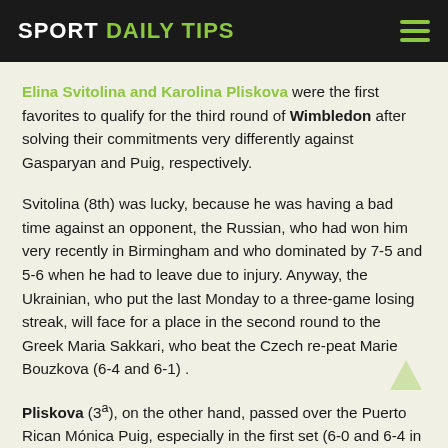SPORT DAILY TIPS
Elina Svitolina and Karolina Pliskova were the first favorites to qualify for the third round of Wimbledon after solving their commitments very differently against Gasparyan and Puig, respectively.
Svitolina (8th) was lucky, because he was having a bad time against an opponent, the Russian, who had won him very recently in Birmingham and who dominated by 7-5 and 5-6 when he had to leave due to injury. Anyway, the Ukrainian, who put the last Monday to a three-game losing streak, will face for a place in the second round to the Greek Maria Sakkari, who beat the Czech re-peat Marie Bouzkova (6-4 and 6-1) .
Pliskova (3ª), on the other hand, passed over the Puerto Rican Mónica Puig, especially in the first set (6-0 and 6-4 in 60 minutes). With nine aces, he only lost once in the second set when he already had the victory